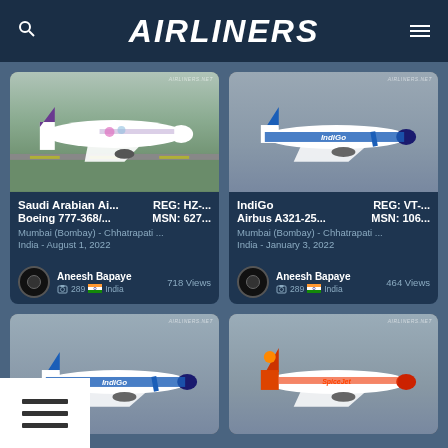AIRLINERS
[Figure (photo): Saudi Arabian Airlines Boeing 777 on tarmac at Mumbai airport]
Saudi Arabian Ai...   REG: HZ-...
Boeing 777-368/...   MSN: 627...
Mumbai (Bombay) - Chhatrapati ...
India - August 1, 2022
Aneesh Bapaye  289  India  718 Views
[Figure (photo): IndiGo Airbus A321 in flight against grey sky]
IndiGo   REG: VT-...
Airbus A321-25...   MSN: 106...
Mumbai (Bombay) - Chhatrapati ...
India - January 3, 2022
Aneesh Bapaye  289  India  464 Views
[Figure (photo): IndiGo aircraft in flight against grey sky - partially visible card]
[Figure (photo): SpiceJet aircraft in flight against grey sky - partially visible card]